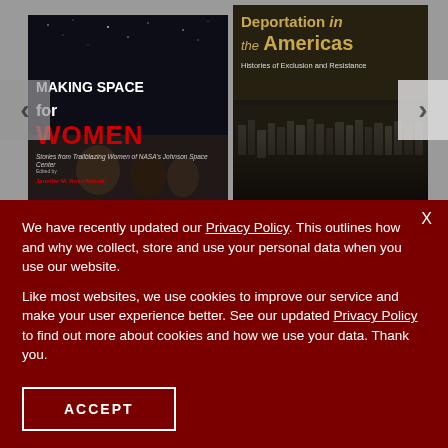[Figure (illustration): Book cover: Making Space for Women - Stories from Trailblazing Women of NASA's Johnson Space Center. Edited by Jennifer M. Ross-Nazzal. Dark background with stars, bold white and red text.]
[Figure (illustration): Book cover: Deportation in the Americas - Histories of Exclusion and Resistance. Dark olive/brown background with crowd photograph, gold and white text.]
We have recently updated our Privacy Policy. This outlines how and why we collect, store and use your personal data when you use our website.
Like most websites, we use cookies to improve our service and make your user experience better. See our updated Privacy Policy to find out more about cookies and how we use your data. Thank you.
ACCEPT